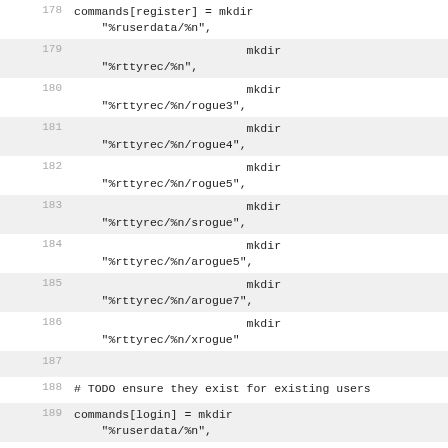178  commands[register] = mkdir "%ruserdata/%n",
179                          mkdir "%rttyrec/%n",
180                          mkdir "%rttyrec/%n/rogue3",
181                          mkdir "%rttyrec/%n/rogue4",
182                          mkdir "%rttyrec/%n/rogue5",
183                          mkdir "%rttyrec/%n/srogue",
184                          mkdir "%rttyrec/%n/arogue5",
185                          mkdir "%rttyrec/%n/arogue7",
186                          mkdir "%rttyrec/%n/xrogue"
187
188  # TODO ensure they exist for existing users
189  commands[login] = mkdir "%ruserdata/%n",
190                   mkdir "%rttyrec/%n",
191                          mkdir "%rttyrec/%n/rogue3",
192                          mkdir "%rttyrec/%n/rogue4",
193                          mkdir